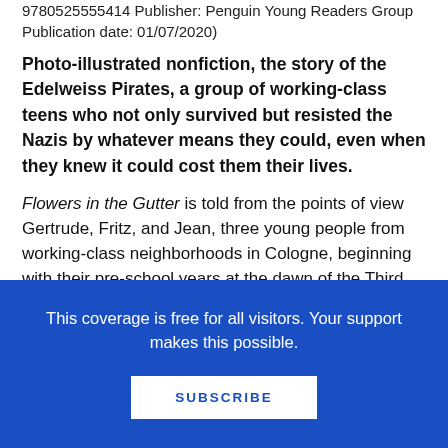9780525555414 Publisher: Penguin Young Readers Group Publication date: 01/07/2020)
Photo-illustrated nonfiction, the story of the Edelweiss Pirates, a group of working-class teens who not only survived but resisted the Nazis by whatever means they could, even when they knew it could cost them their lives.
Flowers in the Gutter is told from the points of view Gertrude, Fritz, and Jean, three young people from working-class neighborhoods in Cologne, beginning with their pre-school years at the dawn of the Third Reich in the 1930s. Gaddy shows how political activism was always a part of their lives and how they
This coverage is free for all visitors. Your support makes this possible.
SUBSCRIBE